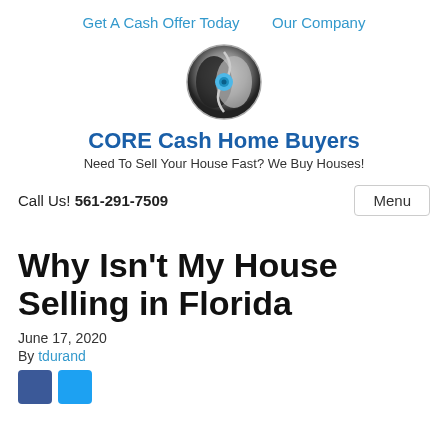Get A Cash Offer Today   Our Company
[Figure (logo): CORE Cash Home Buyers circular logo with swirl and blue center dot]
CORE Cash Home Buyers
Need To Sell Your House Fast? We Buy Houses!
Call Us! 561-291-7509
Why Isn't My House Selling in Florida
June 17, 2020
By tdurand